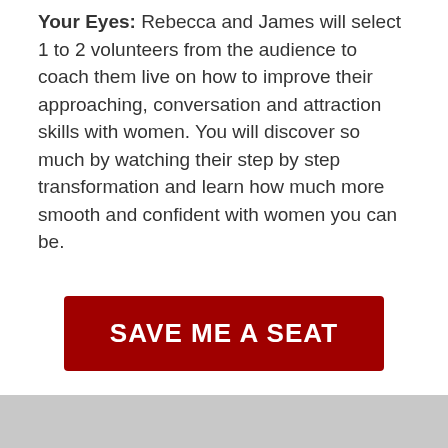Your Eyes: Rebecca and James will select 1 to 2 volunteers from the audience to coach them live on how to improve their approaching, conversation and attraction skills with women. You will discover so much by watching their step by step transformation and learn how much more smooth and confident with women you can be.
[Figure (other): Dark red button with bold white uppercase text reading SAVE ME A SEAT]
This FREE Training Is Limited, So